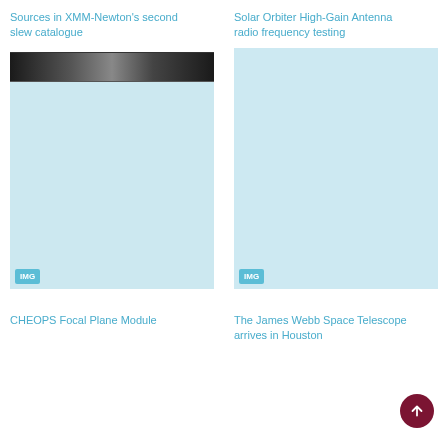Sources in XMM-Newton’s second slew catalogue
[Figure (photo): Grayscale photo strip showing telescope or antenna hardware]
[Figure (photo): Image placeholder for Sources in XMM-Newton’s second slew catalogue article with IMG badge]
Solar Orbiter High-Gain Antenna radio frequency testing
[Figure (photo): Image placeholder for Solar Orbiter High-Gain Antenna radio frequency testing with IMG badge]
CHEOPS Focal Plane Module
The James Webb Space Telescope arrives in Houston